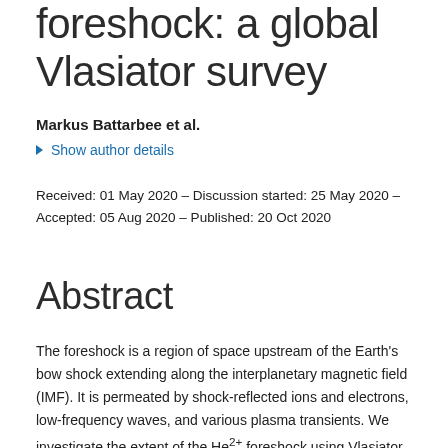foreshock: a global Vlasiator survey
Markus Battarbee et al.
Show author details
Received: 01 May 2020 – Discussion started: 25 May 2020 – Accepted: 05 Aug 2020 – Published: 20 Oct 2020
Abstract
The foreshock is a region of space upstream of the Earth's bow shock extending along the interplanetary magnetic field (IMF). It is permeated by shock-reflected ions and electrons, low-frequency waves, and various plasma transients. We investigate the extent of the He2+ foreshock using Vlasiator